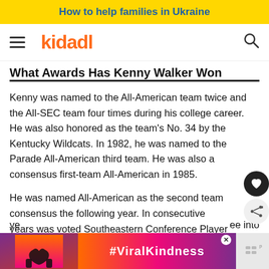How to help families in Ukraine
kidadl
What Awards Has Kenny Walker Won
Kenny was named to the All-American team twice and the All-SEC team four times during his college career. He was also honored as the team's No. 34 by the Kentucky Wildcats. In 1982, he was named to the Parade All-American third team. He was also a consensus first-team All-American in 1985.
He was named All-American as the second team consensus the following year. In consecutive years was voted Southeastern Conference Player of the
[Figure (infographic): Advertisement banner with heart hands silhouette and #ViralKindness text]